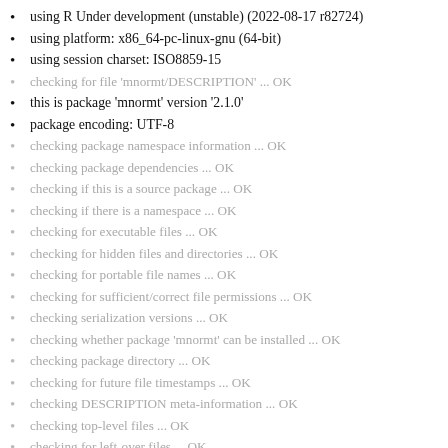using R Under development (unstable) (2022-08-17 r82724)
using platform: x86_64-pc-linux-gnu (64-bit)
using session charset: ISO8859-15
checking for file 'mnormt/DESCRIPTION' ... OK
this is package 'mnormt' version '2.1.0'
package encoding: UTF-8
checking package namespace information ... OK
checking package dependencies ... OK
checking if this is a source package ... OK
checking if there is a namespace ... OK
checking for executable files ... OK
checking for hidden files and directories ... OK
checking for portable file names ... OK
checking for sufficient/correct file permissions ... OK
checking serialization versions ... OK
checking whether package 'mnormt' can be installed ... OK
checking package directory ... OK
checking for future file timestamps ... OK
checking DESCRIPTION meta-information ... OK
checking top-level files ... OK
checking for left-over files ... OK
checking index information ... OK
checking package subdirectories ... OK
checking R files for non-ASCII characters ... OK